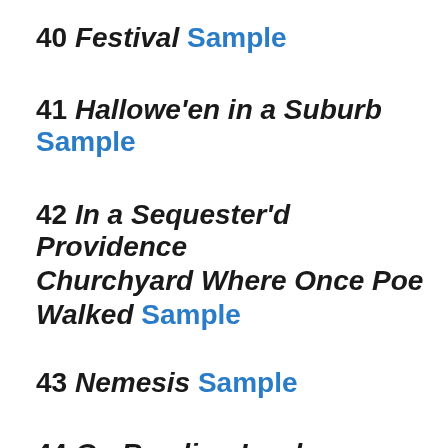40 Festival Sample
41 Hallowe'en in a Suburb Sample
42 In a Sequester'd Providence Churchyard Where Once Poe Walked Sample
43 Nemesis Sample
44 On Reading Lord Dunsany's Book Of Wonder Sample